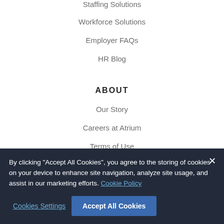Staffing Solutions
Workforce Solutions
Employer FAQs
HR Blog
ABOUT
Our Story
Careers at Atrium
Terms of Use
By clicking “Accept All Cookies”, you agree to the storing of cookies on your device to enhance site navigation, analyze site usage, and assist in our marketing efforts. Cookie Policy
Cookies Settings
Accept All Cookies